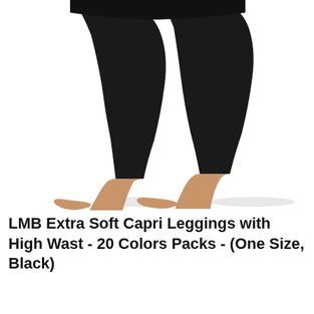[Figure (photo): A person's lower body wearing black capri leggings, showing bare feet on a white background, mid-stride pose.]
LMB Extra Soft Capri Leggings with High Wast - 20 Colors Packs - (One Size, Black)